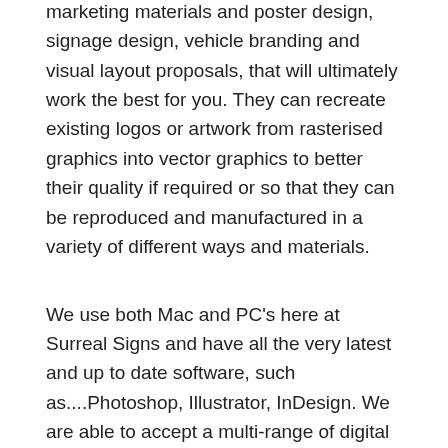Our team of Graphic Designers are able to provide a huge and dynamic range of design services that will aid your new business or compliment your existing company or brand. Ranging from startup business branding and logo design to marketing materials and poster design, signage design, vehicle branding and visual layout proposals, that will ultimately work the best for you. They can recreate existing logos or artwork from rasterised graphics into vector graphics to better their quality if required or so that they can be reproduced and manufactured in a variety of different ways and materials.
We use both Mac and PC's here at Surreal Signs and have all the very latest and up to date software, such as....Photoshop, Illustrator, InDesign. We are able to accept a multi-range of digital file formats and equally can provide you with any suitable file format you may require.